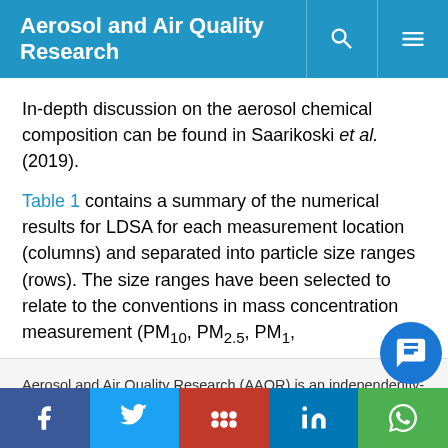Aerosol and Air Quality Research
In-depth discussion on the aerosol chemical composition can be found in Saarikoski et al. (2019).
Table 1 contains a summary of the numerical results for LDSA for each measurement location (columns) and separated into particle size ranges (rows). The size ranges have been selected to relate to the conventions in mass concentration measurement (PM10, PM2.5, PM1,
Aerosol and Air Quality Research (AAQR) is an independently-run non-profit journal that promotes submissions of high-quality research and strives to be one of the leading aerosol and air quality open-access journals in the world. We use cookies on this website to personalize content to improve your user experience and analyze our traffic. By using this site you agree to its use of cookies.
Ok